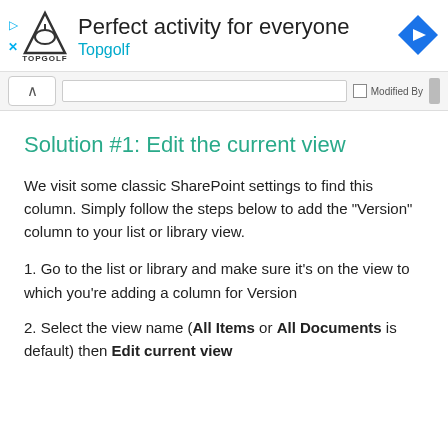[Figure (screenshot): Topgolf advertisement banner with logo, text 'Perfect activity for everyone', 'Topgolf' subtitle in cyan, navigation arrow icon on right, and play/close icons on left.]
[Figure (screenshot): UI strip with up arrow button, search bar, Modified By checkbox label, and scroll bar.]
Solution #1: Edit the current view
We visit some classic SharePoint settings to find this column. Simply follow the steps below to add the "Version" column to your list or library view.
1. Go to the list or library and make sure it's on the view to which you're adding a column for Version
2. Select the view name (All Items or All Documents is default) then Edit current view